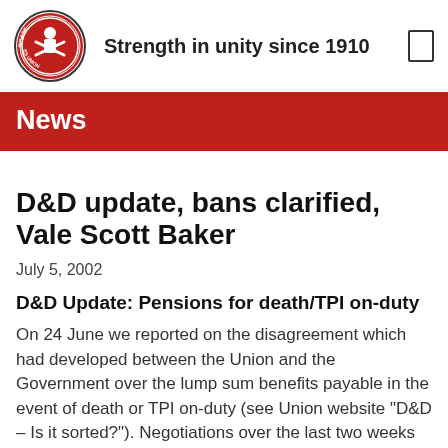Strength in unity since 1910
News
D&D update, bans clarified, Vale Scott Baker
July 5, 2002
D&D Update: Pensions for death/TPI on-duty
On 24 June we reported on the disagreement which had developed between the Union and the Government over the lump sum benefits payable in the event of death or TPI on-duty (see Union website "D&D – Is it sorted?"). Negotiations over the last two weeks have seen the parties come close to settling this latest